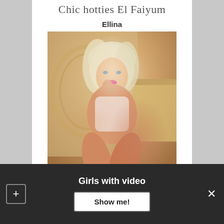Chic hotties El Faiyum
Ellina
[Figure (photo): Blonde woman in lingerie posed on bed with ornate golden furniture background]
Girls with video
Show me!